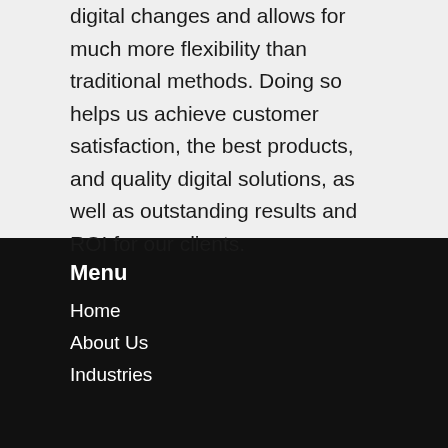digital changes and allows for much more flexibility than traditional methods. Doing so helps us achieve customer satisfaction, the best products, and quality digital solutions, as well as outstanding results and ROI for our clients.
Menu
Home
About Us
Industries